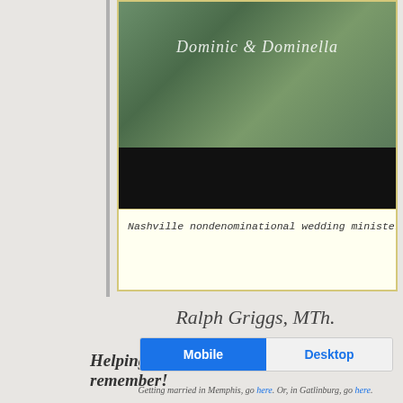[Figure (screenshot): Website preview showing a wedding photo with a couple, cursive overlay text 'Dominic & Dominella', a black bar below the photo, and a yellow-bordered caption bar with monospace italic text: 'Nashville nondenominational wedding minister / of']
Ralph Griggs, MTh.
Helping couples have a ceremony to remember!
Getting married in Memphis, go here. Or, in Gatlinburg, go here.
Mobile  Desktop